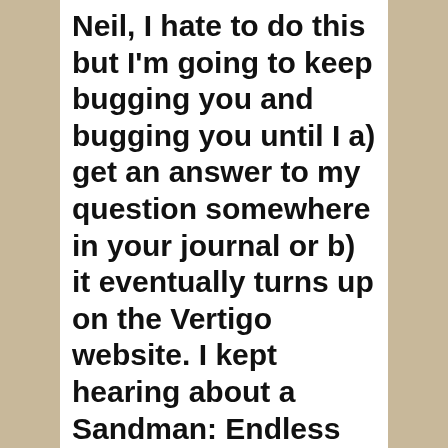Neil, I hate to do this but I'm going to keep bugging you and bugging you until I a) get an answer to my question somewhere in your journal or b) it eventually turns up on the Vertigo website. I kept hearing about a Sandman: Endless Nights Special that